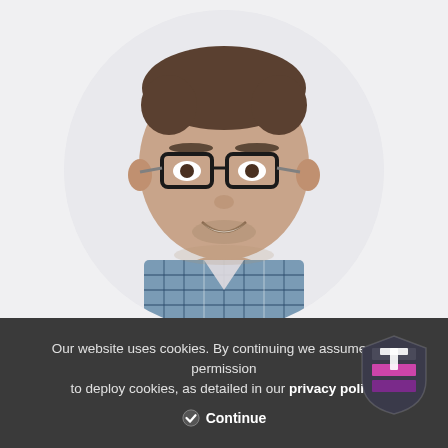[Figure (photo): Circular portrait photo of a smiling man with dark hair, wearing glasses and a blue and white plaid/checkered shirt, against a light gray background.]
Our website uses cookies. By continuing we assume your permission to deploy cookies, as detailed in our privacy policy
Continue
[Figure (logo): Shield-shaped logo with dark gray, pink/magenta, and purple horizontal stripes and a white T shape.]